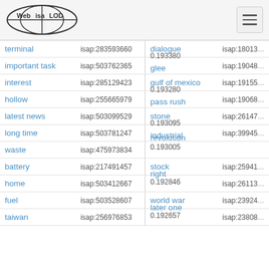Web isa LOD — navigation header
| term | isap id | score | term2 | isap id2 |
| --- | --- | --- | --- | --- |
| terminal | isap:283593660 |  | dialogue | isap:180138… |
| important task | isap:503762365 | 0.193380 | glee | isap:190487… |
| interest | isap:285129423 |  | gulf of mexico | isap:191557… |
| hollow | isap:255665979 | 0.193280 | pass rush | isap:190684… |
| latest news | isap:503099529 |  | stone | isap:261473… |
| long time | isap:503781247 | 0.193095 | industrial revolution | isap:399451… |
| waste | isap:475973834 | 0.193005 | stock | isap:259410… |
| battery | isap:217491457 |  | right | isap:261133… |
| home | isap:503412667 | 0.192846 | world war | isap:239245… |
| fuel | isap:503528607 |  | later one | isap:238089… |
| taiwan | isap:256976853 | 0.192657 |  |  |